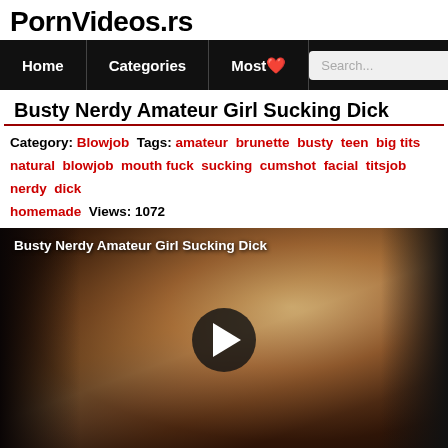PornVideos.rs
Home  Categories  Most
Busty Nerdy Amateur Girl Sucking Dick
Category: Blowjob Tags: amateur brunette busty teen big tits natural blowjob mouth fuck sucking cumshot facial titsjob nerdy dick homemade  Views: 1072
[Figure (screenshot): Video thumbnail showing a close-up of a woman with text overlay 'Busty Nerdy Amateur Girl Sucking Dick' and a play button in the center]